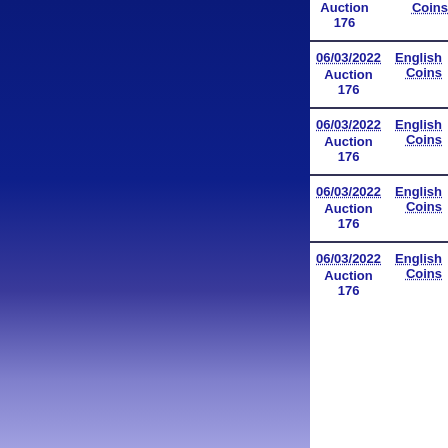[Figure (illustration): Left panel with dark blue to light purple gradient background]
Auction 176
English Coins
06/03/2022 Auction 176
English Coins
06/03/2022 Auction 176
English Coins
06/03/2022 Auction 176
English Coins
06/03/2022 Auction 176
English Coins